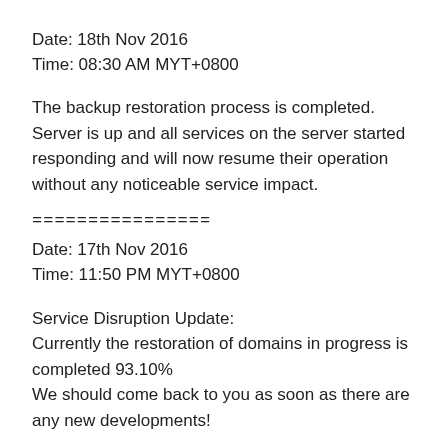Date: 18th Nov 2016
Time: 08:30 AM MYT+0800
The backup restoration process is completed. Server is up and all services on the server started responding and will now resume their operation without any noticeable service impact.
================
Date: 17th Nov 2016
Time: 11:50 PM MYT+0800
Service Disruption Update:
Currently the restoration of domains in progress is completed 93.10%
We should come back to you as soon as there are any new developments!
================